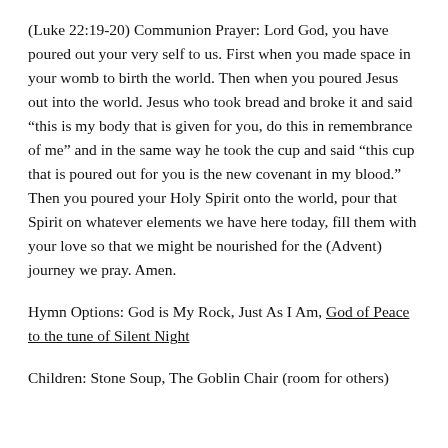(Luke 22:19-20) Communion Prayer: Lord God, you have poured out your very self to us. First when you made space in your womb to birth the world. Then when you poured Jesus out into the world. Jesus who took bread and broke it and said “this is my body that is given for you, do this in remembrance of me” and in the same way he took the cup and said “this cup that is poured out for you is the new covenant in my blood.” Then you poured your Holy Spirit onto the world, pour that Spirit on whatever elements we have here today, fill them with your love so that we might be nourished for the (Advent) journey we pray. Amen.
Hymn Options: God is My Rock, Just As I Am, God of Peace to the tune of Silent Night
Children: Stone Soup, The Goblin Chair (room for others)